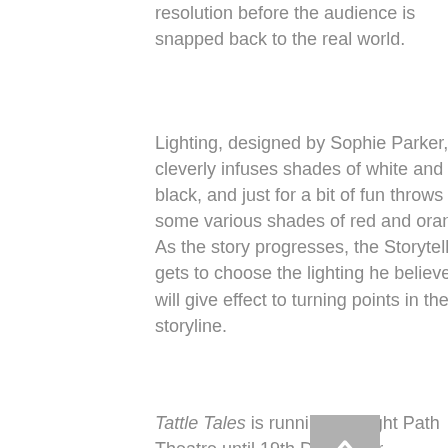resolution before the audience is snapped back to the real world.
Lighting, designed by Sophie Parker, cleverly infuses shades of white and black, and just for a bit of fun throws in some various shades of red and orange. As the story progresses, the Storyteller gets to choose the lighting he believes will give effect to turning points in the storyline.
Tattle Tales is running at Flight Path Theatre until 19th December.
[Figure (photo): Dark theatre stage scene showing performers under a single bright vertical light, with audience members or cast visible in the foreground.]